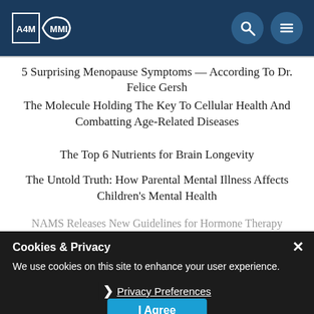A4M MMI logo and navigation header
5 Surprising Menopause Symptoms — According To Dr. Felice Gersh
The Molecule Holding The Key To Cellular Health And Combatting Age-Related Diseases
The Top 6 Nutrients for Brain Longevity
The Untold Truth: How Parental Mental Illness Affects Children's Mental Health
NAMS Releases New Guidelines for Hormone Therapy
ARCHIVES
Select Month
Cookies & Privacy
We use cookies on this site to enhance your user experience.
Privacy Preferences
I Agree
CATEGORIES